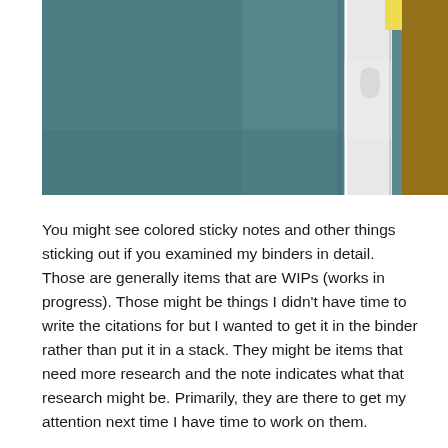[Figure (photo): A close-up photograph showing binders on a shelf with colored sticky notes and tabs sticking out. The background is a teal/blue-gray wall. A white binder spine is visible in the center-right, with a yellow tab sticking out at the top and a brown/wood-toned item to the right.]
You might see colored sticky notes and other things sticking out if you examined my binders in detail. Those are generally items that are WIPs (works in progress). Those might be things I didn't have time to write the citations for but I wanted to get it in the binder rather than put it in a stack. They might be items that need more research and the note indicates what that research might be. Primarily, they are there to get my attention next time I have time to work on them.